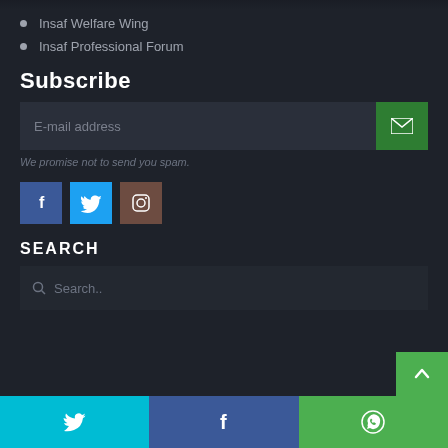Insaf Welfare Wing
Insaf Professional Forum
Subscribe
E-mail address
We promise not to send you spam.
[Figure (infographic): Social media icon buttons: Facebook (blue), Twitter (light blue), Instagram (brown)]
SEARCH
Search...
[Figure (infographic): Bottom navigation bar with Twitter (cyan), Facebook (blue), WhatsApp (green) icons and a scroll-to-top button]